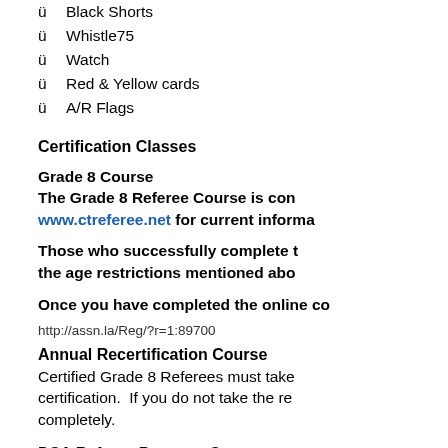ü  Black Shorts
ü  Whistle75
ü  Watch
ü  Red & Yellow cards
ü  A/R Flags
Certification Classes
Grade 8 Course
The Grade 8 Referee Course is con www.ctreferee.net for current informa
Those who successfully complete the age restrictions mentioned abo
Once you have completed the online co
http://assn.la/Reg/?r=1:89700
Annual Recertification Course
Certified Grade 8 Referees must take certification.  If you do not take the re completely.
DSA Referee Program Contacts